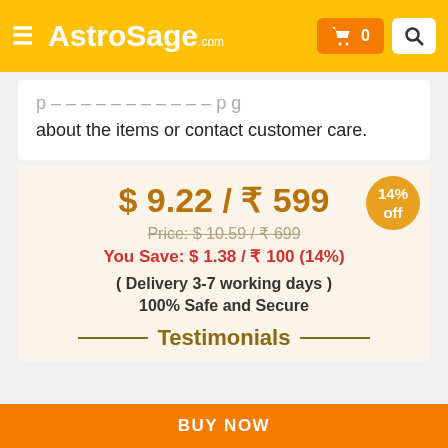AstroSage.com
about the items or contact customer care.
$ 9.22 / ₹ 599
Price: $ 10.59 / ₹ 699
You Save: $ 1.38 / ₹ 100 (14%)
( Delivery 3-7 working days )
100% Safe and Secure
Testimonials
BUY NOW